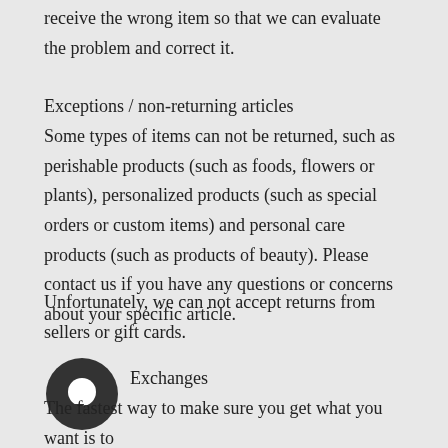receive the wrong item so that we can evaluate the problem and correct it.
Exceptions / non-returning articles
Some types of items can not be returned, such as perishable products (such as foods, flowers or plants), personalized products (such as special orders or custom items) and personal care products (such as products of beauty). Please contact us if you have any questions or concerns about your specific article.
Unfortunately, we can not accept returns from sellers or gift cards.
Exchanges
[Figure (illustration): Chat bubble icon overlay in dark gray]
The fastest way to make sure you get what you want is to